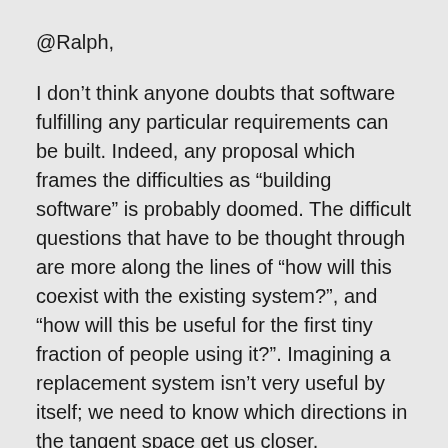@Ralph,
I don’t think anyone doubts that software fulfilling any particular requirements can be built. Indeed, any proposal which frames the difficulties as “building software” is probably doomed. The difficult questions that have to be thought through are more along the lines of “how will this coexist with the existing system?”, and “how will this be useful for the first tiny fraction of people using it?”. Imagining a replacement system isn’t very useful by itself; we need to know which directions in the tangent space get us closer.